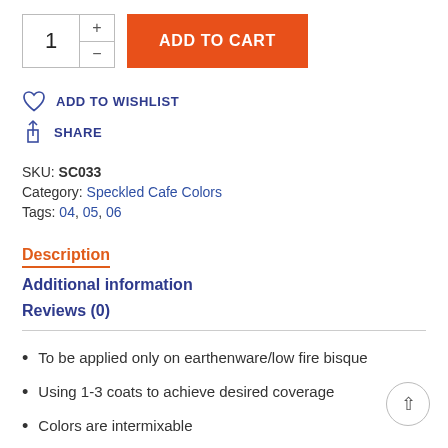ADD TO CART (quantity: 1)
ADD TO WISHLIST
SHARE
SKU: SC033
Category: Speckled Cafe Colors
Tags: 04, 05, 06
Description
Additional information
Reviews (0)
To be applied only on earthenware/low fire bisque
Using 1-3 coats to achieve desired coverage
Colors are intermixable